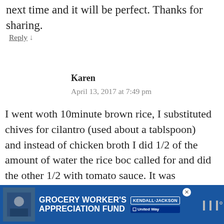next time and it will be perfect. Thanks for sharing.
Reply ↓
Karen
April 13, 2017 at 7:49 pm
I went woth 10minute brown rice, I substituted chives for cilantro (used about a tablspoon) and instead of chicken broth I did 1/2 of the amount of water the rice boc called for and did the other 1/2 with tomato sauce. It was excellent with a bit of cracked seasalt.
Reply ↓
[Figure (other): Share button icon (circle with share symbol)]
[Figure (other): What's Next promotional widget showing 'The Best Authentic...' with food image]
[Figure (other): Grocery Worker's Appreciation Fund advertisement banner with Kendall Jackson and United Way logos]